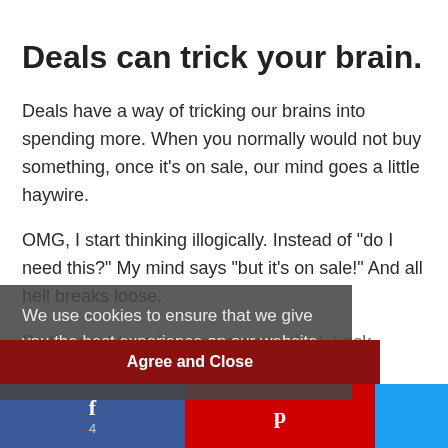Deals can trick your brain.
Deals have a way of tricking our brains into spending more. When you normally would not buy something, once it’s on sale, our mind goes a little haywire.
OMG, I start thinking illogically. Instead of “do I need this?” My mind says “but it’s on sale!” And all hell breaks loose.
So the next time I come across a deal, I ask myself these two qu…
1. Would I buy this at full price?
We use cookies to ensure that we give you the best experience on our website. Read the privacy policy
Agree and Close